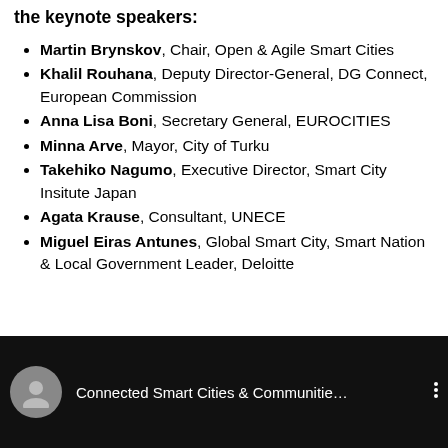the keynote speakers:
Martin Brynskov, Chair, Open & Agile Smart Cities
Khalil Rouhana, Deputy Director-General, DG Connect, European Commission
Anna Lisa Boni, Secretary General, EUROCITIES
Minna Arve, Mayor, City of Turku
Takehiko Nagumo, Executive Director, Smart City Insitute Japan
Agata Krause, Consultant, UNECE
Miguel Eiras Antunes, Global Smart City, Smart Nation & Local Government Leader, Deloitte
[Figure (screenshot): Video thumbnail bar showing 'Connected Smart Cities & Communitie...' with a user avatar icon on a black background]